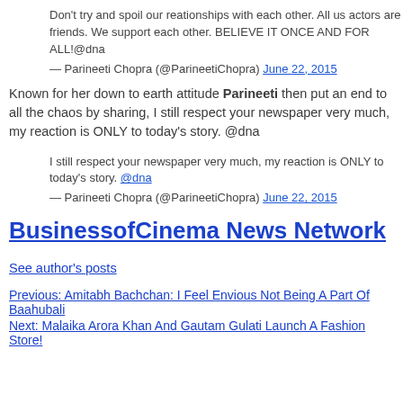Don't try and spoil our reationships with each other. All us actors are friends. We support each other. BELIEVE IT ONCE AND FOR ALL!@dna
— Parineeti Chopra (@ParineetiChopra) June 22, 2015
Known for her down to earth attitude Parineeti then put an end to all the chaos by sharing, I still respect your newspaper very much, my reaction is ONLY to today's story. @dna
I still respect your newspaper very much, my reaction is ONLY to today's story. @dna
— Parineeti Chopra (@ParineetiChopra) June 22, 2015
BusinessofCinema News Network
See author's posts
Previous: Amitabh Bachchan: I Feel Envious Not Being A Part Of Baahubali
Next: Malaika Arora Khan And Gautam Gulati Launch A Fashion Store!